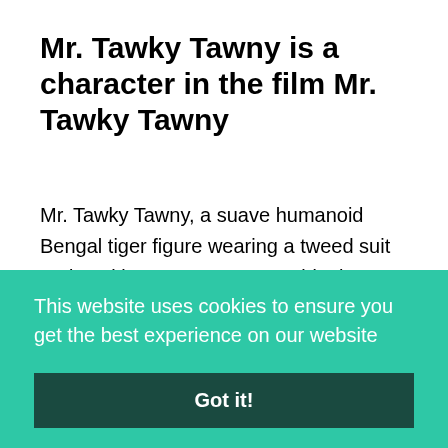Mr. Tawky Tawny is a character in the film Mr. Tawky Tawny
Mr. Tawky Tawny, a suave humanoid Bengal tiger figure wearing a tweed suit and working as a museum guide, is a lesser-known character. Mr. Tawky Tawny originally appears in Captain Marvel Adventures in 1947 and is often seen drinking dirty martinis and debating whether the occasion
This website uses cookies to ensure you get the best experience on our website
Got it!